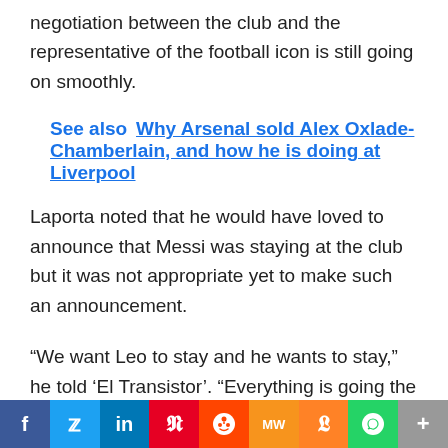negotiation between the club and the representative of the football icon is still going on smoothly.
See also  Why Arsenal sold Alex Oxlade-Chamberlain, and how he is doing at Liverpool
Laporta noted that he would have loved to announce that Messi was staying at the club but it was not appropriate yet to make such an announcement.
“We want Leo to stay and he wants to stay,” he told ‘El Transistor’. “Everything is going the right way, and we’re trying to find a solution that we’re all happy with.
“It’s about ‘fair play’ now.